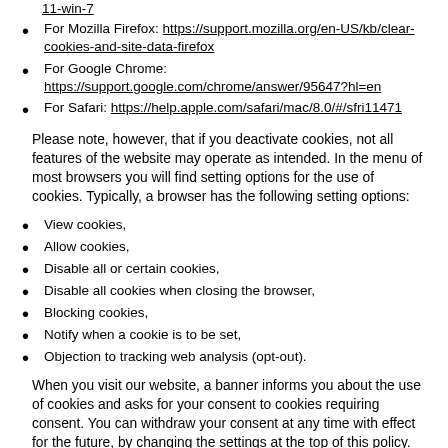11-win-7
For Mozilla Firefox: https://support.mozilla.org/en-US/kb/clear-cookies-and-site-data-firefox
For Google Chrome: https://support.google.com/chrome/answer/95647?hl=en
For Safari: https://help.apple.com/safari/mac/8.0/#/sfri11471
Please note, however, that if you deactivate cookies, not all features of the website may operate as intended. In the menu of most browsers you will find setting options for the use of cookies. Typically, a browser has the following setting options:
View cookies,
Allow cookies,
Disable all or certain cookies,
Disable all cookies when closing the browser,
Blocking cookies,
Notify when a cookie is to be set,
Objection to tracking web analysis (opt-out).
When you visit our website, a banner informs you about the use of cookies and asks for your consent to cookies requiring consent. You can withdraw your consent at any time with effect for the future, by changing the settings at the top of this policy.
To the extent any personal data is collected through cookies